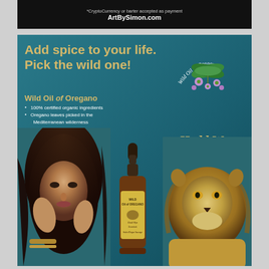[Figure (photo): Top banner ad with black background showing text about CryptoCurrency or barter accepted and ArtBySimon.com URL]
*CryptoCurrency or barter accepted as payment
ArtBySimon.com
[Figure (advertisement): Hedd Wyn Essentials Wild Oil of Oregano advertisement on teal/dark blue background featuring woman, lion, oil bottle, and product information]
Add spice to your life. Pick the wild one!
Wild Oil of Oregano
100% certified organic ingredients
Oregano leaves picked in the Mediterranean wilderness
High Carvacrol, High Life Force
Keeps your immune system strong
Helps with most conditions
Internal and external usage
Thousands of satisfied users
Wild Oil of Oregano
Hedd Wyn
Essentials
Wild Mediterranean Oil of Oregano
www.wildoiloforegano.com